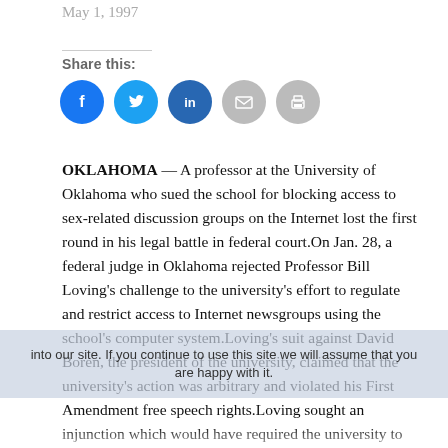May 1, 1997
Share this:
[Figure (infographic): Row of five social share icon circles: Facebook (blue), Twitter (light blue), LinkedIn (dark blue), Email (grey), Print (grey)]
OKLAHOMA — A professor at the University of Oklahoma who sued the school for blocking access to sex-related discussion groups on the Internet lost the first round in his legal battle in federal court.On Jan. 28, a federal judge in Oklahoma rejected Professor Bill Loving's challenge to the university's effort to regulate and restrict access to Internet newsgroups using the school's computer system.Loving's suit against David Boren, the president of the university, claimed that the university's action was arbitrary and violated his First Amendment free speech rights.Loving sought an injunction which would have required the university to